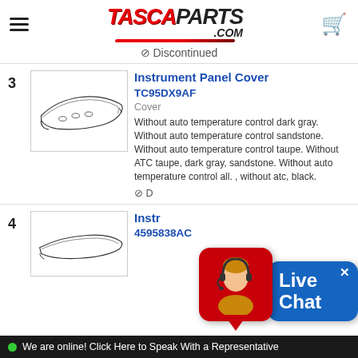[Figure (logo): TascaParts.com logo with red italic TASCA and black italic PARTS .COM text, red underline, hamburger menu icon left, red shopping cart icon right]
⊘ Discontinued
[Figure (illustration): Line drawing of an Instrument Panel Cover part, curved strip shape]
Instrument Panel Cover
TC95DX9AF
Cover
Without auto temperature control dark gray. Without auto temperature control sandstone. Without auto temperature control taupe. Without ATC taupe, dark gray, sandstone. Without auto temperature control all. , without atc, black.
⊘ D...
[Figure (illustration): Line drawing of an Instrument Panel part, elongated shape]
Instrument...
4595838AC
[Figure (screenshot): Live Chat overlay with red bubble showing woman with headset and blue bubble with Live Chat text and X close button]
We are online! Click Here to Speak With a Representative